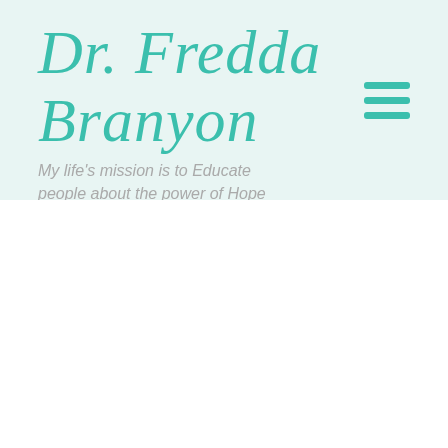Dr. Fredda Branyon
My life's mission is to Educate people about the power of Hope
[Figure (other): Hamburger menu icon — three horizontal teal bars stacked vertically]